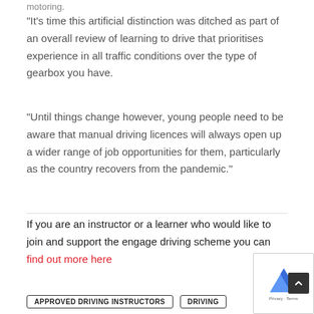motoring.
“It’s time this artificial distinction was ditched as part of an overall review of learning to drive that prioritises experience in all traffic conditions over the type of gearbox you have.
“Until things change however, young people need to be aware that manual driving licences will always open up a wider range of job opportunities for them, particularly as the country recovers from the pandemic.”
If you are an instructor or a learner who would like to join and support the engage driving scheme you can find out more here
APPROVED DRIVING INSTRUCTORS   DRIVING